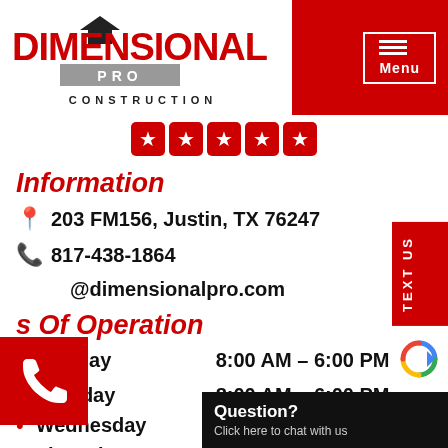[Figure (logo): Dimensional Pro Construction logo with red bold text and house icon]
[Figure (other): Five red star rating badges]
Information
203 FM156, Justin, TX 76247
817-438-1864
@dimensionalpro.com
Hours Of Operation
Monday   8:00 AM – 6:00 PM
Tuesday  8:00 AM – 6:00 PM
Wednesday  8:00 AM – 6:00
Thursday  8:00 AM – 6:00 PM
TEXT US
Question? Click here to chat with us